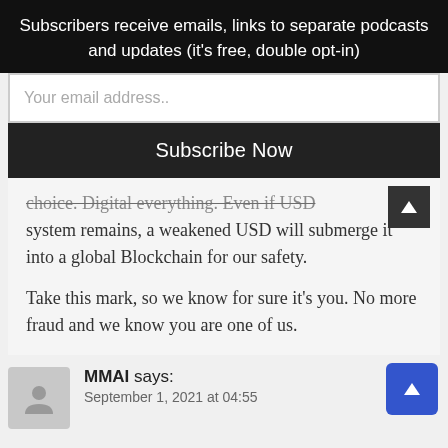Subscribers receive emails, links to separate podcasts and updates (it's free, double opt-in)
Your email address..
Subscribe Now
choice. Digital everything. Even if USD system remains, a weakened USD will submerge it into a global Blockchain for our safety.
Take this mark, so we know for sure it's you. No more fraud and we know you are one of us.
MMAI says: September 1, 2021 at 04:55